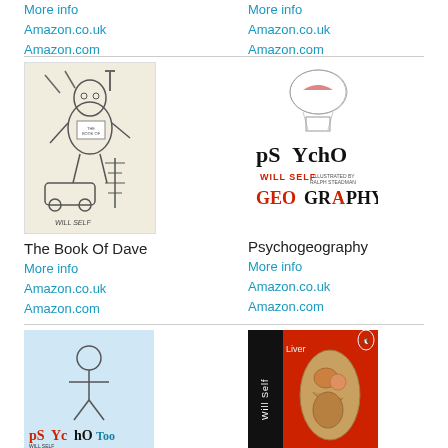More info
Amazon.co.uk
Amazon.com
More info
Amazon.co.uk
Amazon.com
[Figure (illustration): Book cover: The Book Of Dave by Will Self, hand-drawn sketch style illustration]
The Book Of Dave
More info
Amazon.co.uk
Amazon.com
[Figure (illustration): Book cover: Psychogeography by Will Self, illustrated with PSYchO GEOGRAPHY text and decorative imagery]
Psychogeography
More info
Amazon.co.uk
Amazon.com
[Figure (illustration): Book cover: Psycho Too by Will Self, illustrated cover with PSYchO Too text]
[Figure (illustration): Book cover: Liver by Will Self, dark cover with anatomical illustration of human torso organs on red background]